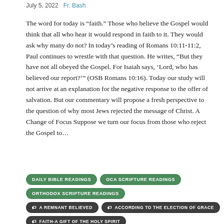July 5, 2022  Fr. Bash
The word for today is “faith.” Those who believe the Gospel would think that all who hear it would respond in faith to it. They would ask why many do not? In today’s reading of Romans 10:11-11:2, Paul continues to wrestle with that question. He writes, “But they have not all obeyed the Gospel. For Isaiah says, ‘Lord, who has believed our report?’” (OSB Romans 10:16). Today our study will not arrive at an explanation for the negative response to the offer of salvation. But our commentary will propose a fresh perspective to the question of why most Jews rejected the message of Christ. A Change of Focus Suppose we turn our focus from those who reject the Gospel to…
DAILY BIBLE READINGS
OCA SCRIPTURE READINGS
ORTHODOX SCRIPTURE READINGS
A REMNANT BELIEVED
ACCORDING TO THE ELECTION OF GRACE
FAITH-A GIFT OF THE HOLY SPIRIT